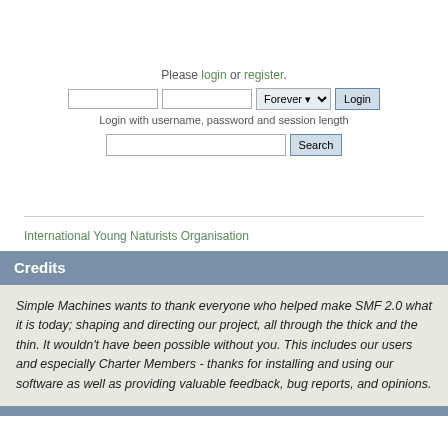Please login or register.
[Figure (screenshot): Login form with username and password input fields, a 'Forever' session dropdown, and a Login button]
Login with username, password and session length
[Figure (screenshot): Search bar with a Search button]
International Young Naturists Organisation
Credits
Simple Machines wants to thank everyone who helped make SMF 2.0 what it is today; shaping and directing our project, all through the thick and the thin. It wouldn't have been possible without you. This includes our users and especially Charter Members - thanks for installing and using our software as well as providing valuable feedback, bug reports, and opinions.